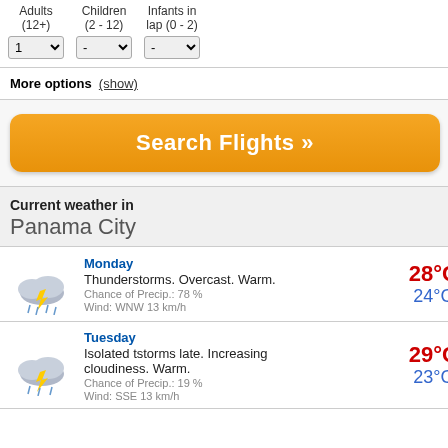Adults (12+): 1, Children (2-12): -, Infants in lap (0-2): -
More options (show)
Search Flights »
Current weather in Panama City
Monday
Thunderstorms. Overcast. Warm.
Chance of Precip.: 78 %
Wind: WNW 13 km/h
28°C / 24°C
Tuesday
Isolated tstorms late. Increasing cloudiness. Warm.
Chance of Precip.: 19 %
Wind: SSE 13 km/h
29°C / 23°C
Conferences
Caesar Park Panama is one of the most complete m facilities in Panama.
The hotel features over 2,995 square meters of mo
497 square-meter (5,304 square-foot) Gran Salon,
14 additional meeting rooms accommodating up to
Caesar Park Panama's culinary staff provides outsta
Business Center
Our fully equipped and staffed Business Center pro businesswoman.
Our bilingual staff can assist in many ways:
Translation service
Secretarial services
Photocopying and binding service
Sending and receiving faxes
Computer station rentals
Laser and color printers available
Internet access
The Business Center also has an intimate meeting r
Atlapa Convention Center
Across the street from Caesar Park Panama is the A Pacific Oceans that border the Isthmus of the Repu
This fabulous two-hectare complex is located in the minutes from the business district and 15 minutes fr
Atlapa Convention Center
WHERE THE ATLANTIC OCEAN AND THE PACIFI VENUE FOR YOUR IMPORTANT EVENT IS THE A
The site of many important world and regional summ international trade fairs, shows and events.